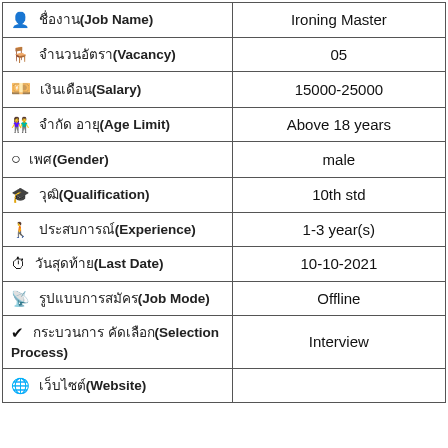| Field | Value |
| --- | --- |
| 🧑 ชื่องาน(Job Name) | Ironing Master |
| 🪑 จำนวนอัตรา(Vacancy) | 05 |
| 💴 เงินเดือน(Salary) | 15000-25000 |
| 👫 จำกัด อายุ(Age Limit) | Above 18 years |
| ○ เพศ(Gender) | male |
| 👤 วุฒิ(Qualification) | 10th std |
| 🚶 ประสบการณ์(Experience) | 1-3 year(s) |
| ⏱ วันสุดท้าย(Last Date) | 10-10-2021 |
| 📡 รูปแบบการสมัคร(Job Mode) | Offline |
| ✔ กระบวนการ คัดเลือก(Selection Process) | Interview |
| 🌐 เว็บไซต์(Website) |  |